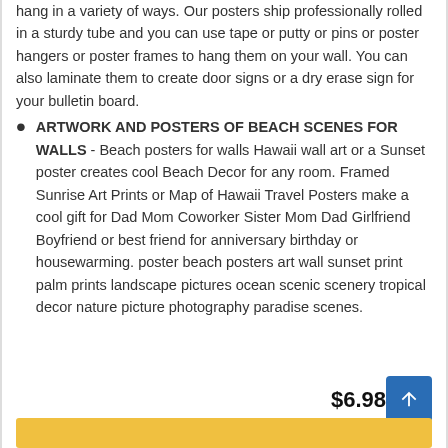hang in a variety of ways. Our posters ship professionally rolled in a sturdy tube and you can use tape or putty or pins or poster hangers or poster frames to hang them on your wall. You can also laminate them to create door signs or a dry erase sign for your bulletin board.
ARTWORK AND POSTERS OF BEACH SCENES FOR WALLS - Beach posters for walls Hawaii wall art or a Sunset poster creates cool Beach Decor for any room. Framed Sunrise Art Prints or Map of Hawaii Travel Posters make a cool gift for Dad Mom Coworker Sister Mom Dad Girlfriend Boyfriend or best friend for anniversary birthday or housewarming. poster beach posters art wall sunset print palm prints landscape pictures ocean scenic scenery tropical decor nature picture photography paradise scenes.
$6.98